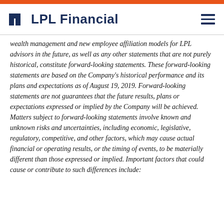LPL Financial
wealth management and new employee affiliation models for LPL advisors in the future, as well as any other statements that are not purely historical, constitute forward-looking statements. These forward-looking statements are based on the Company's historical performance and its plans and expectations as of August 19, 2019. Forward-looking statements are not guarantees that the future results, plans or expectations expressed or implied by the Company will be achieved. Matters subject to forward-looking statements involve known and unknown risks and uncertainties, including economic, legislative, regulatory, competitive, and other factors, which may cause actual financial or operating results, or the timing of events, to be materially different than those expressed or implied. Important factors that could cause or contribute to such differences include: